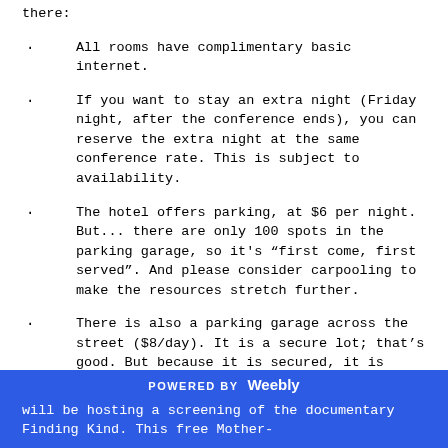there:
All rooms have complimentary basic internet.
If you want to stay an extra night (Friday night, after the conference ends), you can reserve the extra night at the same conference rate.  This is subject to availability.
The hotel offers parking, at $6 per night.  But... there are only 100 spots in the parking garage, so it’s “first come, first served”.  And please consider carpooling to make the resources stretch further.
There is also a parking garage across the street ($8/day).  It is a secure lot; that’s good.  But because it is secured, it is locked at 10pm each night.
·
Lastly, Stefani Tweety at Zillah Middle School will be hosting a screening of the documentary Finding Kind.  This free Mother-
POWERED BY  Weebly